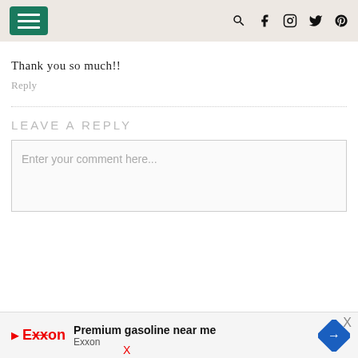Navigation header with hamburger menu and social icons
Thank you so much!!
Reply
LEAVE A REPLY
Enter your comment here...
[Figure (other): Advertisement banner for Exxon Premium gasoline near me with Exxon logo and directional arrow icon]